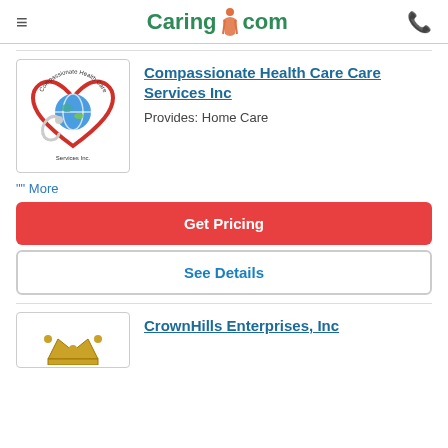Caring.com
[Figure (logo): Compassionate Health Care Services Inc logo — red heart with stethoscope and globe inside, text around it]
Compassionate Health Care Care Services Inc
Provides: Home Care
"" More
Get Pricing
See Details
CrownHills Enterprises, Inc